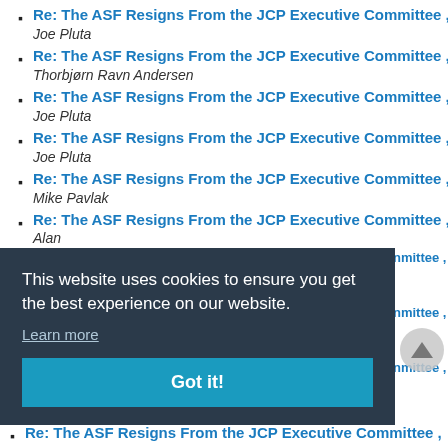Re: The ASF Resigns From the JCP Executive Committee ,
Joe Pluta
Re: The ASF Resigns From the JCP Executive Committee ,
Thorbjørn Ravn Andersen
Re: The ASF Resigns From the JCP Executive Committee ,
Joe Pluta
Re: The ASF Resigns From the JCP Executive Committee ,
Joe Pluta
Re: The ASF Resigns From the JCP Executive Committee ,
Mike Pavlak
Re: The ASF Resigns From the JCP Executive Committee ,
Alan
This website uses cookies to ensure you get the best experience on our website.
Learn more
Got it!
Re: The ASF Resigns From the JCP Executive Committee ,